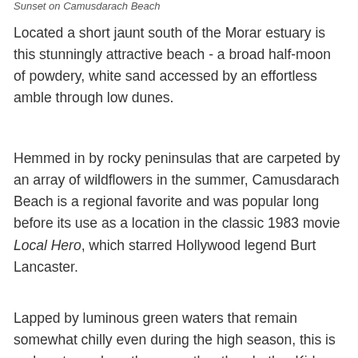Sunset on Camusdarach Beach
Located a short jaunt south of the Morar estuary is this stunningly attractive beach - a broad half-moon of powdery, white sand accessed by an effortless amble through low dunes.
Hemmed in by rocky peninsulas that are carpeted by an array of wildflowers in the summer, Camusdarach Beach is a regional favorite and was popular long before its use as a location in the classic 1983 movie Local Hero, which starred Hollywood legend Burt Lancaster.
Lapped by luminous green waters that remain somewhat chilly even during the high season, this is a place to soak up the sun rather than bathe. Kids